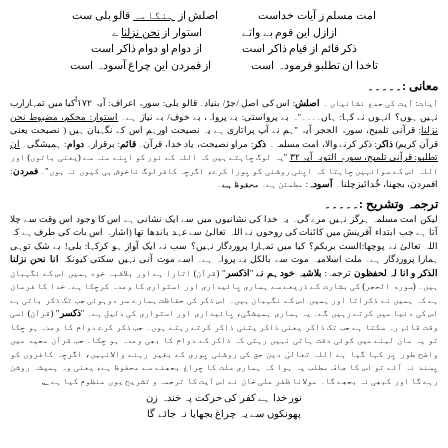Urdu poetry verses (4 couplets)
معانی
Urdu explanation text for معانی section
ترجمہ وتشریح
Urdu translation and explanation text
Final poetry lines at bottom